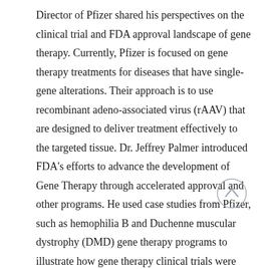Director of Pfizer shared his perspectives on the clinical trial and FDA approval landscape of gene therapy. Currently, Pfizer is focused on gene therapy treatments for diseases that have single-gene alterations. Their approach is to use recombinant adeno-associated virus (rAAV) that are designed to deliver treatment effectively to the targeted tissue. Dr. Jeffrey Palmer introduced FDA's efforts to advance the development of Gene Therapy through accelerated approval and other programs. He used case studies from Pfizer, such as hemophilia B and Duchenne muscular dystrophy (DMD) gene therapy programs to illustrate how gene therapy clinical trials were designed to meet the challenges of 1) small sample sizes; 2) fewer opportunities to pause